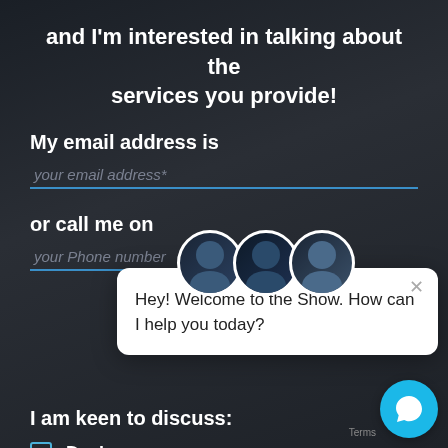and I'm interested in talking about the services you provide!
My email address is
your email address*
or call me on
your Phone number
[Figure (screenshot): Chat popup widget showing three avatar photos and the message: Hey! Welcome to the Show. How can I help you today? with a close X button.]
I am keen to discuss:
Design
DevHub
Marketing
[Figure (illustration): Blue circular chat button icon in the bottom right corner, with a 'terms' label nearby.]